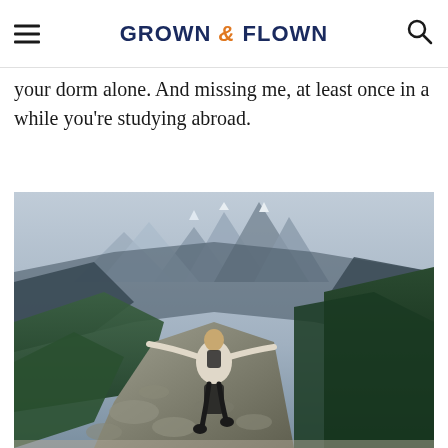GROWN & FLOWN
your dorm alone. And missing me, at least once in a while you’re studying abroad.
[Figure (photo): Young woman with a backpack hiking on a rocky mountain trail with arms outstretched, with a dramatic mountain valley and forest landscape in the background]